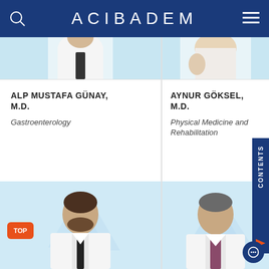ACIBADEM
ALP MUSTAFA GÜNAY, M.D.
Gastroenterology
AYNUR GÖKSEL, M.D.
Physical Medicine and Rehabilitation
[Figure (photo): Portrait photos of two doctors in white coats on light blue background with Acibadem mountain watermark]
[Figure (photo): Portrait photos of two more doctors in white coats on light blue background with Acibadem mountain watermark]